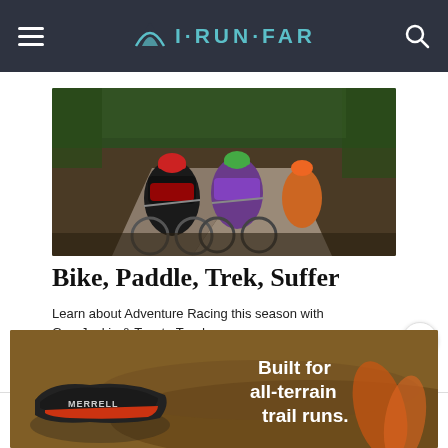I·RUN·FAR
[Figure (photo): Three cyclists wearing helmets and riding mountain bikes on a gravel path surrounded by green trees. The lead rider wears a black and red jersey with a red helmet, the second wears a purple long-sleeve jersey with a green helmet.]
Bike, Paddle, Trek, Suffer
Learn about Adventure Racing this season with GearJunkie & Toyota Tundra
[Figure (logo): Toyota Tundra badge: red square with Toyota oval logo, text TUNDRA]
[Figure (photo): Merrell shoe advertisement banner: dark trail running shoe on left, blurred legs running on trail on right, white text reading Built for all-terrain trail runs.]
Built for all-terrain trail runs.